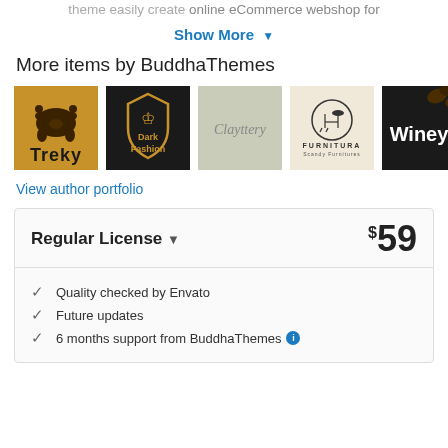theme easily create online eCommerce webshop for
Show More ▾
More items by BuddhaThemes
[Figure (logo): Treky logo - golden bear on dark gold background with 'Treky' text]
[Figure (logo): Dark Fashion logo - lion shield on black background with 'Dark Fashion' text in gold]
[Figure (logo): Clayttery logo - italic script text on sage green background]
[Figure (logo): Furnitura logo - line art chair/lamp icon on beige background with 'FURNITURA Scandy Furnitures' text]
[Figure (logo): Winey logo - white bold text on dark background with coffee beans]
View author portfolio
| Regular License ▾ | $59 |
| Quality checked by Envato |  |
| Future updates |  |
| 6 months support from BuddhaThemes ℹ |  |